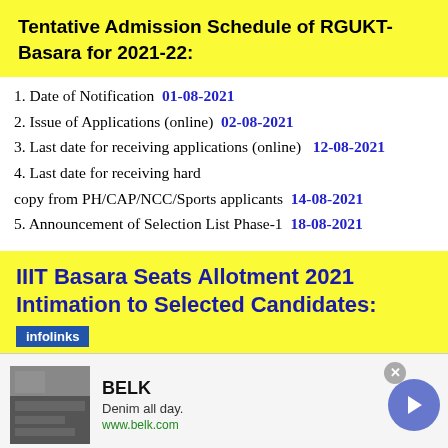Tentative Admission Schedule of RGUKT- Basara for 2021-22:
1. Date of Notification  01-08-2021
2. Issue of Applications (online)  02-08-2021
3. Last date for receiving applications (online)  12-08-2021
4. Last date for receiving hard copy from PH/CAP/NCC/Sports applicants  14-08-2021
5. Announcement of Selection List Phase-1  18-08-2021
IIIT Basara Seats Allotment 2021 Intimation to Selected Candidates:
[Figure (screenshot): Advertisement banner for BELK: 'Denim all day. www.belk.com' with an image and navigation arrow]